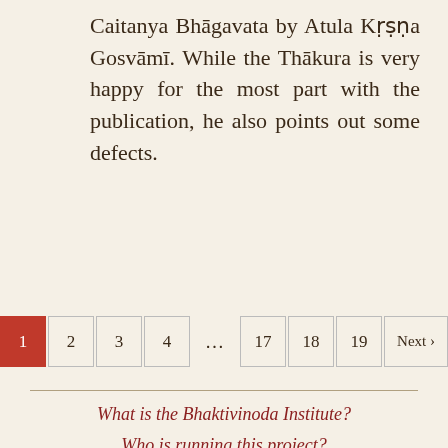Caitanya Bhāgavata by Atula Kṛṣṇa Gosvāmī. While the Thākura is very happy for the most part with the publication, he also points out some defects.
Pagination: 1, 2, 3, 4, …, 17, 18, 19, Next ›
What is the Bhaktivinoda Institute?
Who is running this project?
Who is Bhaktivinoda Thakur?
Ask us a question.